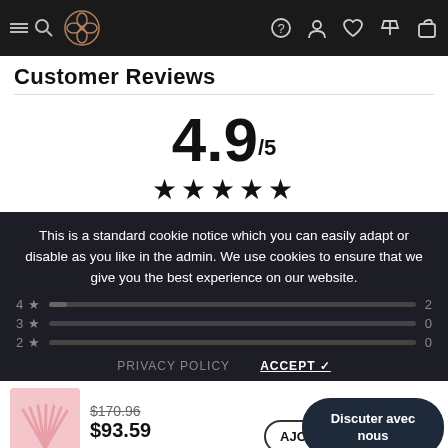Navigation bar with menu, logo, and icons
Customer Reviews
4.9/5 ★★★★★
This is a standard cookie notice which you can easily adapt or disable as you like in the admin. We use cookies to ensure that we give you the best experience on our website.
4 ★ 2
3 ★ 0
2 ★ 0
PRIVACY POLICY  ACCEPT ✓
[Figure (photo): Product image of nail art set on pink background]
$170.96
$93.59
AJO... R (Add to cart button)
Discuter avec nous